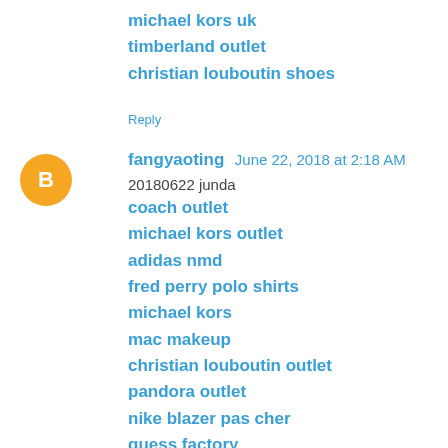michael kors uk
timberland outlet
christian louboutin shoes
Reply
fangyaoting  June 22, 2018 at 2:18 AM
20180622 junda
coach outlet
michael kors outlet
adidas nmd
fred perry polo shirts
michael kors
mac makeup
christian louboutin outlet
pandora outlet
nike blazer pas cher
guess factory
Reply